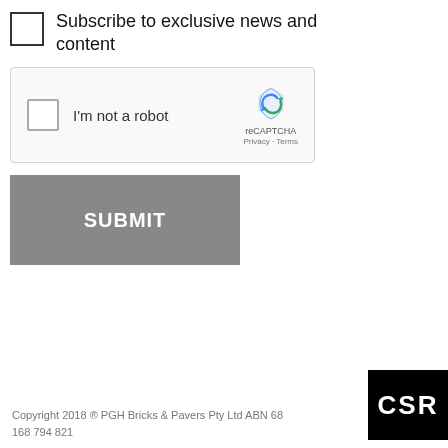Subscribe to exclusive news and content
[Figure (screenshot): reCAPTCHA widget with checkbox labeled 'I'm not a robot', reCAPTCHA logo, Privacy and Terms links]
SUBMIT
Copyright 2018 ® PGH Bricks & Pavers Pty Ltd ABN 68 168 794 821
[Figure (logo): CSR logo — white text on black background]